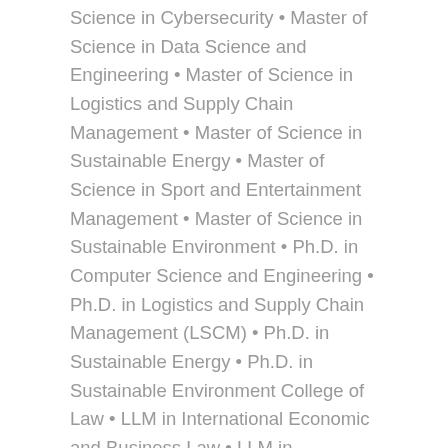Science in Cybersecurity • Master of Science in Data Science and Engineering • Master of Science in Logistics and Supply Chain Management • Master of Science in Sustainable Energy • Master of Science in Sport and Entertainment Management • Master of Science in Sustainable Environment • Ph.D. in Computer Science and Engineering • Ph.D. in Logistics and Supply Chain Management (LSCM) • Ph.D. in Sustainable Energy • Ph.D. in Sustainable Environment College of Law • LLM in International Economic and Business Law • LLM in International Law and Foreign Affairs • Doctor of Juridical Science • Juris Doctor College of Health & Life Sciences • Master of Science in Biological and Biomedical Sciences • Master of Science in Exercise Science • Master of Science in Genomics and Precision Medicine • Ph.D. in Biological